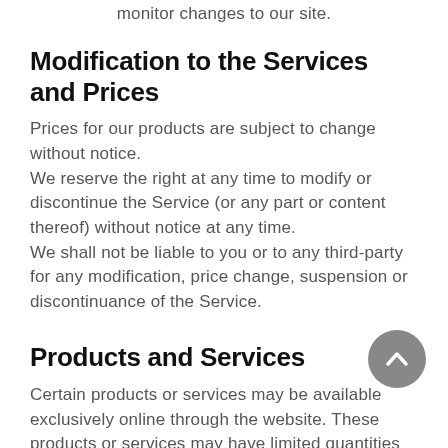monitor changes to our site.
Modification to the Services and Prices
Prices for our products are subject to change without notice.
We reserve the right at any time to modify or discontinue the Service (or any part or content thereof) without notice at any time.
We shall not be liable to you or to any third-party for any modification, price change, suspension or discontinuance of the Service.
Products and Services
Certain products or services may be available exclusively online through the website. These products or services may have limited quantities and are subject to return or exchange